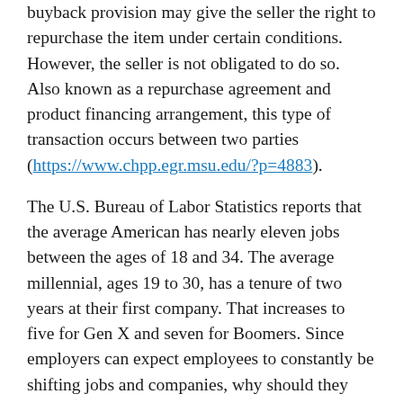buyback provision may give the seller the right to repurchase the item under certain conditions. However, the seller is not obligated to do so. Also known as a repurchase agreement and product financing arrangement, this type of transaction occurs between two parties (https://www.chpp.egr.msu.edu/?p=4883).
The U.S. Bureau of Labor Statistics reports that the average American has nearly eleven jobs between the ages of 18 and 34. The average millennial, ages 19 to 30, has a tenure of two years at their first company. That increases to five for Gen X and seven for Boomers. Since employers can expect employees to constantly be shifting jobs and companies, why should they have the right to force them into different industries and professionals through a non-compete? They shouldnt! This is especially true since salaries have decreased and the unemployment rate stands at 7.8% here. This Consulting Agreement